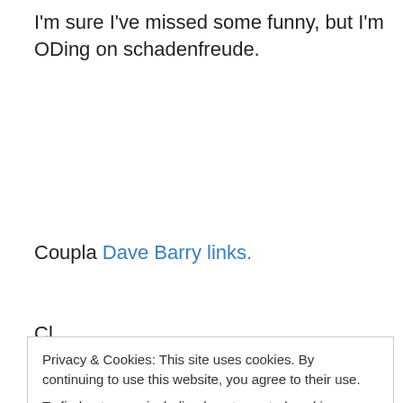I'm sure I've missed some funny, but I'm ODing on schadenfreude.
Coupla Dave Barry links.
Cl...
Privacy & Cookies: This site uses cookies. By continuing to use this website, you agree to their use. To find out more, including how to control cookies, see here: Cookie Policy
Close and accept
If only I were allowed in Canada, I can see a decent